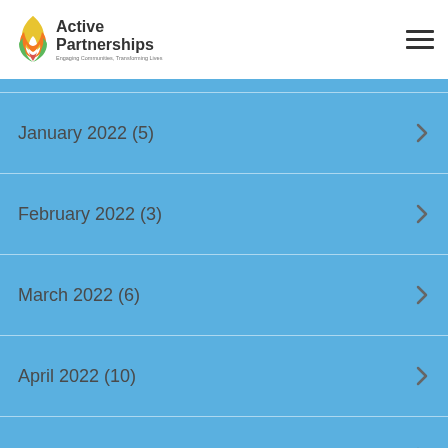[Figure (logo): Active Partnerships logo with colorful leaf/flame icon and tagline 'Engaging Communities, Transforming Lives']
January 2022 (5)
February 2022 (3)
March 2022 (6)
April 2022 (10)
May 2022 (2)
June 2022 (7)
July 2022 (4)